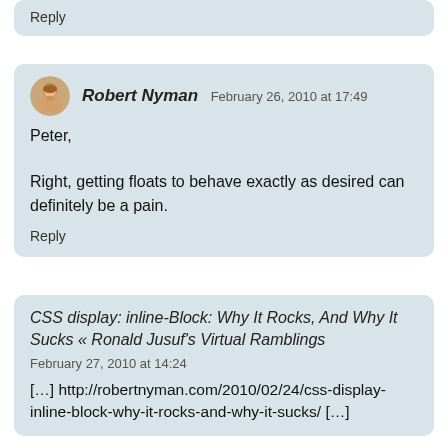Reply
[Figure (photo): Avatar photo of Robert Nyman — man with beard]
Robert Nyman February 26, 2010 at 17:49
Peter,

Right, getting floats to behave exactly as desired can definitely be a pain.
Reply
CSS display: inline-Block: Why It Rocks, And Why It Sucks « Ronald Jusuf's Virtual Ramblings
February 27, 2010 at 14:24
[…] http://robertnyman.com/2010/02/24/css-display-inline-block-why-it-rocks-and-why-it-sucks/ […]